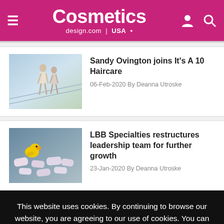Cosmetics design.com | USA
[Figure (photo): Thumbnail photo of two people on stairs, bright background]
Sandy Ovington joins It's A 10 Haircare
06-Feb-2020 By Deanna Utroske
[Figure (photo): Thumbnail photo of soap bars with yellow duck on gray surface]
LBB Specialties restructures leadership team for further growth
23-Jan-2020 By Deanna Utroske
This website uses cookies. By continuing to browse our website, you are agreeing to our use of cookies. You can learn more about cookies by visiting our privacy & cookies policy page.
I Agree